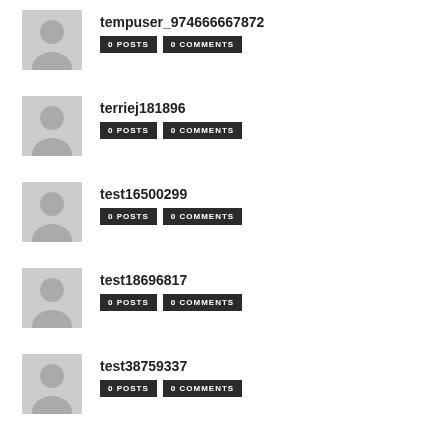tempuser_974666667872 | 0 POSTS | 0 COMMENTS
terriej181896 | 0 POSTS | 0 COMMENTS
test16500299 | 0 POSTS | 0 COMMENTS
test18696817 | 0 POSTS | 0 COMMENTS
test38759337 | 0 POSTS | 0 COMMENTS